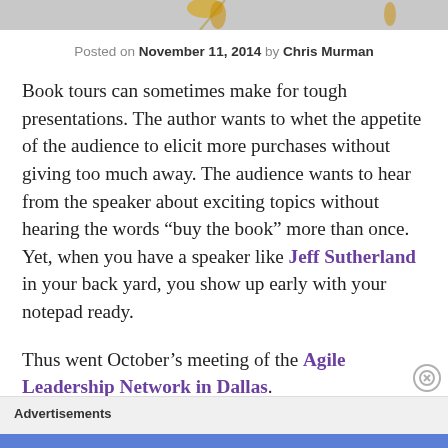[Figure (illustration): Decorative top bar with partial floral/gold decorative elements on gray background]
Posted on November 11, 2014 by Chris Murman
Book tours can sometimes make for tough presentations. The author wants to whet the appetite of the audience to elicit more purchases without giving too much away. The audience wants to hear from the speaker about exciting topics without hearing the words “buy the book” more than once. Yet, when you have a speaker like Jeff Sutherland in your back yard, you show up early with your notepad ready.
Thus went October’s meeting of the Agile Leadership Network in Dallas.
Advertisements